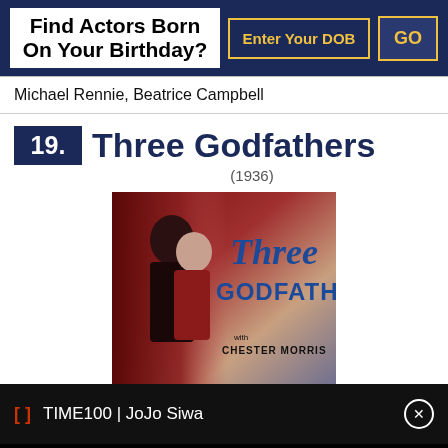Find Actors Born On Your Birthday?
Michael Rennie, Beatrice Campbell
19. Three Godfathers (1936)
[Figure (photo): Movie poster for Three Godfathers (1936) showing a couple embracing, with 'Three' in italic blue script and 'FATHERS' in bold blue letters, along with text 'CHESTER MORRIS' at the bottom]
TIME100 | JoJo Siwa